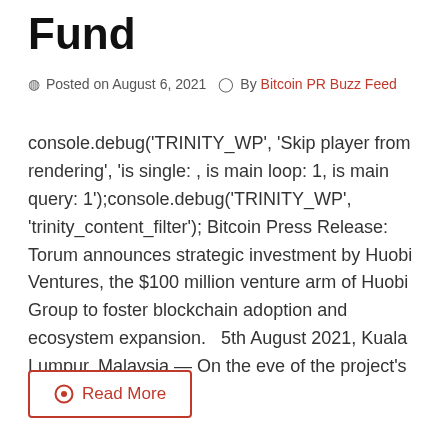Fund
Posted on August 6, 2021   By Bitcoin PR Buzz Feed
console.debug('TRINITY_WP', 'Skip player from rendering', 'is single: , is main loop: 1, is main query: 1');console.debug('TRINITY_WP', 'trinity_content_filter'); Bitcoin Press Release: Torum announces strategic investment by Huobi Ventures, the $100 million venture arm of Huobi Group to foster blockchain adoption and ecosystem expansion.   5th August 2021, Kuala Lumpur, Malaysia — On the eve of the project's
Read More